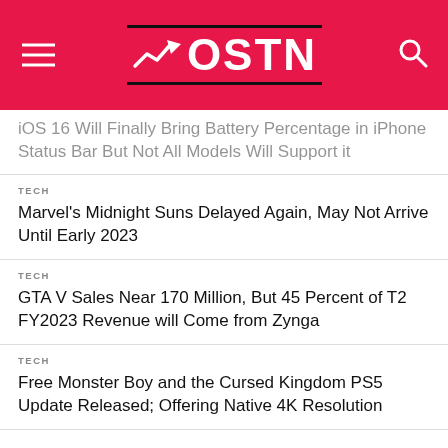OSTN
iOS 16 Will Finally Bring Battery Percentage in iPhone Status Bar But Not All Models Will Support it
TECH
Marvel's Midnight Suns Delayed Again, May Not Arrive Until Early 2023
TECH
GTA V Sales Near 170 Million, But 45 Percent of T2 FY2023 Revenue will Come from Zynga
TECH
Free Monster Boy and the Cursed Kingdom PS5 Update Released; Offering Native 4K Resolution